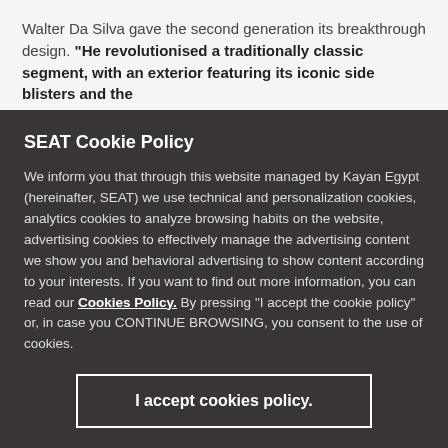Walter Da Silva gave the second generation its breakthrough design. "He revolutionised a traditionally classic segment, with an exterior featuring its iconic side blisters and the ...
SEAT Cookie Policy
We inform you that through this website managed by Kayan Egypt (hereinafter, SEAT) we use technical and personalization cookies, analytics cookies to analyze browsing habits on the website, advertising cookies to effectively manage the advertising content we show you and behavioral advertising to show content according to your interests. If you want to find out more information, you can read our Cookies Policy. By pressing "I accept the cookie policy" or, in case you CONTINUE BROWSING, you consent to the use of cookies.
I accept cookies policy.